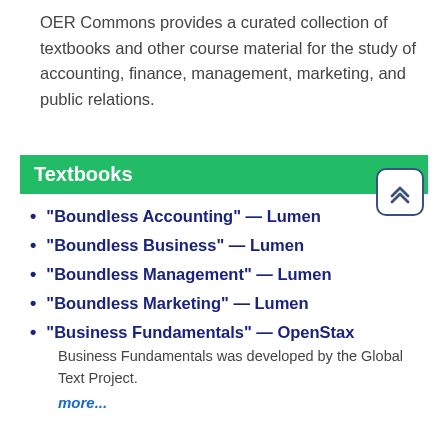OER Commons provides a curated collection of textbooks and other course material for the study of accounting, finance, management, marketing, and public relations.
Textbooks
"Boundless Accounting" — Lumen
"Boundless Business" — Lumen
"Boundless Management" — Lumen
"Boundless Marketing" — Lumen
"Business Fundamentals" — OpenStax
Business Fundamentals was developed by the Global Text Project.
more...